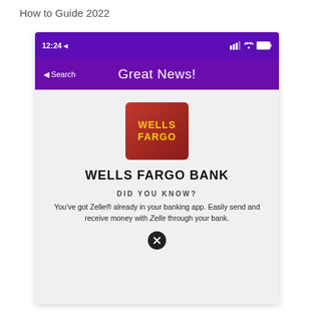How to Guide 2022
[Figure (screenshot): Mobile app screenshot showing a 'Great News!' screen with Wells Fargo Bank logo and a Zelle promotional message: 'DID YOU KNOW? You've got Zelle® already in your banking app. Easily send and receive money with Zelle through your bank.']